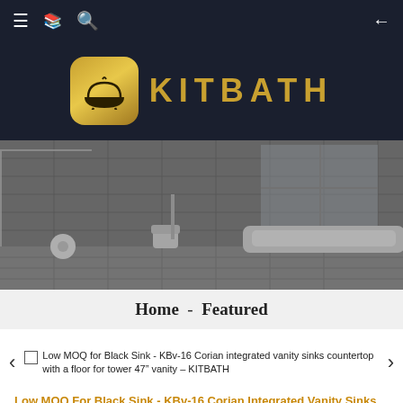KITBATH navigation header
[Figure (logo): KITBATH logo with gold bathtub icon on dark background and gold KITBATH text]
[Figure (photo): Grayscale photo of a modern bathroom interior with bathtub, toilet, and glass shower]
Home  -  Featured
Low MOQ for Black Sink - KBv-16 Corian integrated vanity sinks countertop with a floor for tower 47" vanity – KITBATH
Low MOQ For Black Sink - KBv-16 Corian Integrated Vanity Sinks Countertop With A Floor For Tower 47" Vanity – KITBATH